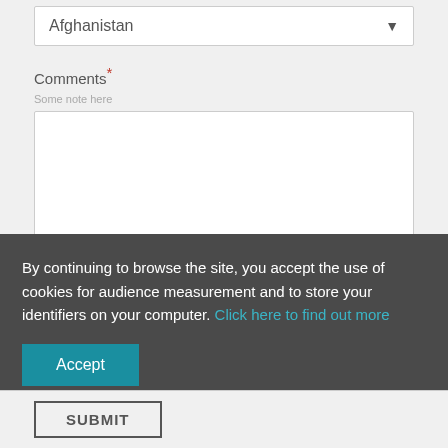Afghanistan
Comments*
By continuing to browse the site, you accept the use of cookies for audience measurement and to store your identifiers on your computer. Click here to find out more
Accept
SUBMIT